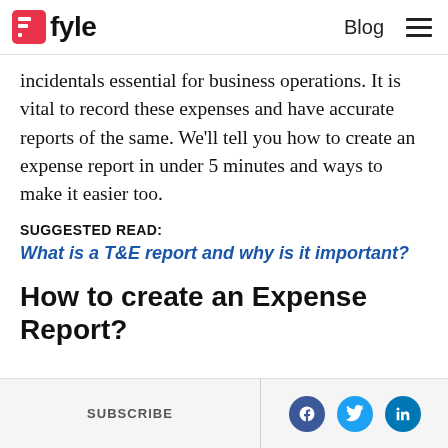Fyle | Blog
incidentals essential for business operations. It is vital to record these expenses and have accurate reports of the same. We’ll tell you how to create an expense report in under 5 minutes and ways to make it easier too.
SUGGESTED READ:
What is a T&E report and why is it important?
How to create an Expense Report?
SUBSCRIBE